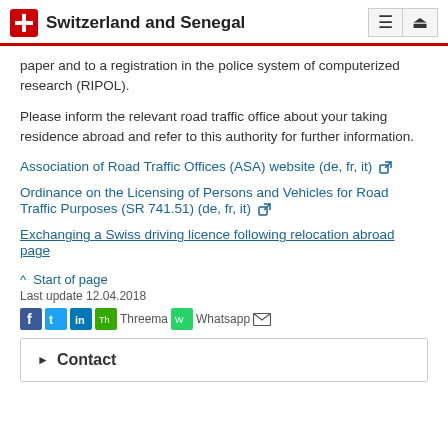Switzerland and Senegal
paper and to a registration in the police system of computerized research (RIPOL).
Please inform the relevant road traffic office about your taking residence abroad and refer to this authority for further information.
Association of Road Traffic Offices (ASA) website (de, fr, it) [external link]
Ordinance on the Licensing of Persons and Vehicles for Road Traffic Purposes (SR 741.51) (de, fr, it) [external link]
Exchanging a Swiss driving licence following relocation abroad page
^ Start of page
Last update 12.04.2018
Contact